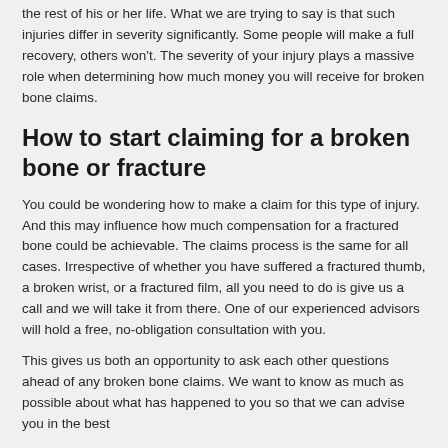the rest of his or her life. What we are trying to say is that such injuries differ in severity significantly. Some people will make a full recovery, others won't. The severity of your injury plays a massive role when determining how much money you will receive for broken bone claims.
How to start claiming for a broken bone or fracture
You could be wondering how to make a claim for this type of injury. And this may influence how much compensation for a fractured bone could be achievable. The claims process is the same for all cases. Irrespective of whether you have suffered a fractured thumb, a broken wrist, or a fractured film, all you need to do is give us a call and we will take it from there. One of our experienced advisors will hold a free, no-obligation consultation with you.
This gives us both an opportunity to ask each other questions ahead of any broken bone claims. We want to know as much as possible about what has happened to you so that we can advise you in the best...